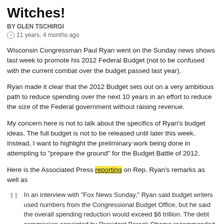Witches!
BY GLEN TSCHIRGI
11 years, 4 months ago
Wisconsin Congressman Paul Ryan went on the Sunday news shows last week to promote his 2012 Federal Budget (not to be confused with the current combat over the budget passed last year).
Ryan made it clear that the 2012 Budget sets out on a very ambitious path to reduce spending over the next 10 years in an effort to reduce the size of the Federal government without raising revenue.
My concern here is not to talk about the specifics of Ryan’s budget ideas. The full budget is not to be released until later this week. Instead, I want to highlight the preliminary work being done in attempting to “prepare the ground” for the Budget Battle of 2012.
Here is the Associated Press reporting on Rep. Ryan’s remarks as well as
In an interview with “Fox News Sunday,” Ryan said budget writers used numbers from the Congressional Budget Office, but he said the overall spending reduction would exceed $6 trillion. The debt commission appointed by President Barack Obama recommended trying to achieve nearly $4 trillion in deficit reduction.

Ryan said Obama’s call for freezing nondefense discretionary spe...